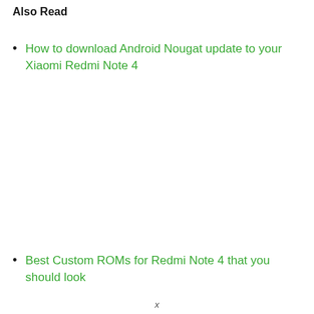Also Read
How to download Android Nougat update to your Xiaomi Redmi Note 4
Best Custom ROMs for Redmi Note 4 that you should look